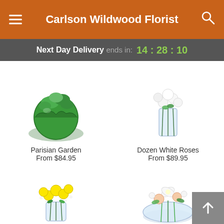Carlson Wildwood Florist
Next Day Delivery ends in: 14:28:10
[Figure (photo): Parisian Garden floral arrangement in a green round vase]
Parisian Garden
From $84.95
[Figure (photo): Dozen White Roses in a clear glass vase]
Dozen White Roses
From $89.95
[Figure (photo): Yellow roses bouquet in a clear glass vase with baby's breath]
[Figure (photo): White and peach floral arrangement with lilies and roses in a round clear vase]